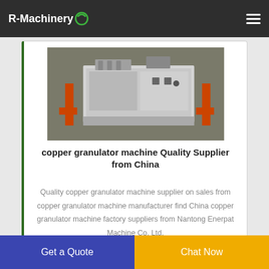R-Machinery
[Figure (photo): Industrial copper granulator machine in a factory setting, white/grey colored machine with orange structural supports on a concrete floor]
copper granulator machine Quality Supplier from China
Quality copper granulator machine supplier on sales from copper granulator machine manufacturer find China copper granulator machine factory suppliers from Nantong Enerpat Machine Co. Ltd.
[Figure (photo): Second product image partially visible at bottom of page]
Get a Quote   Chat Now